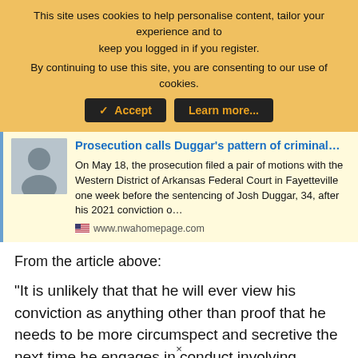[Figure (screenshot): Cookie consent banner with orange/yellow background. Text: 'This site uses cookies to help personalise content, tailor your experience and to keep you logged in if you register. By continuing to use this site, you are consenting to our use of cookies.' Two dark buttons: checkmark Accept and Learn more...]
[Figure (screenshot): News article card with light yellow background and blue left border. Shows thumbnail photo of a man, headline 'Prosecution calls Duggar's pattern of criminal...' in blue, article snippet text, and source URL www.nwahomepage.com with flag icon.]
From the article above:
"It is unlikely that that he will ever view his conviction as anything other than proof that he needs to be more circumspect and secretive the next time he engages in conduct involving